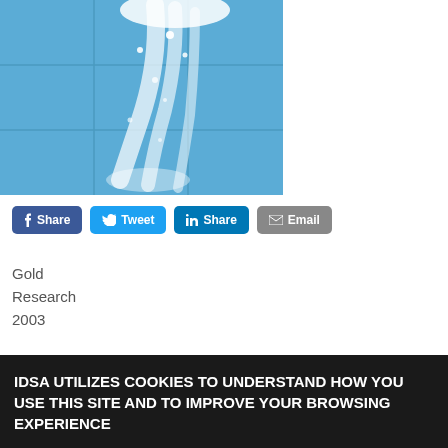[Figure (photo): Close-up photograph of a showerhead spraying water against blue tiled wall, water splashing brightly]
Share  Tweet  Share  Email
Gold
Research
2003
Desiring to enter the consumer showerhead market, Moen
IDSA UTILIZES COOKIES TO UNDERSTAND HOW YOU USE THIS SITE AND TO IMPROVE YOUR BROWSING EXPERIENCE